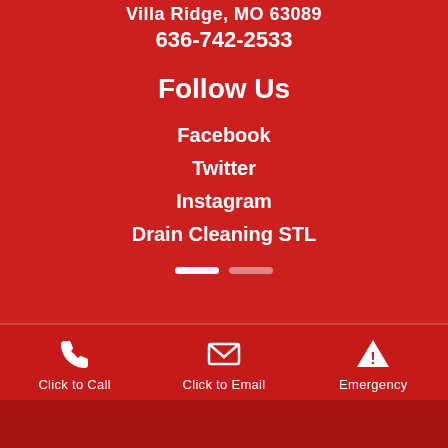Villa Ridge, MO 63089
636-742-2533
Follow Us
Facebook
Twitter
Instagram
Drain Cleaning STL
Click to Call | Click to Email | Emergency